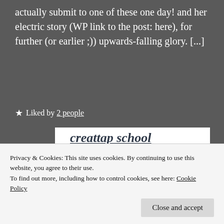actually submit to one of these one day! and her electric story (WP link to the post: here), for further (or earlier ;)) upwards-falling glory. [...]
★ Liked by 2 people
[Figure (screenshot): Partial screenshot of a webpage card showing partially visible italic bold text 'creattap school' at top on white background, and below a dark navy section with bold white text 'Ask questions.' and partially visible pink/blue elements at the bottom edge.]
Privacy & Cookies: This site uses cookies. By continuing to use this website, you agree to their use.
To find out more, including how to control cookies, see here: Cookie Policy